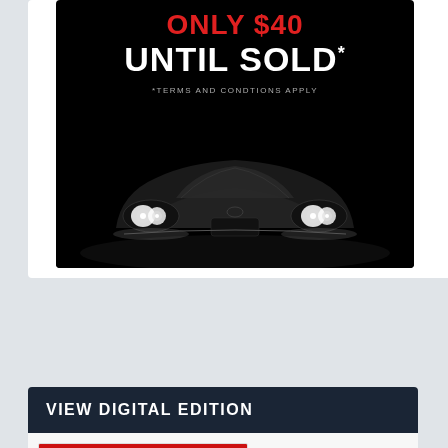[Figure (advertisement): Car advertisement on black background. Red text reads 'ONLY $40', white bold text reads 'UNTIL SOLD*', grey small text reads '*TERMS AND CONDITIONS APPLY'. Front view of a dark luxury/sports car with glowing headlights is shown below the text.]
SEARCH ...
VIEW DIGITAL EDITION
[Figure (screenshot): Thumbnail of Mildura Weekly newspaper digital edition. Red banner at top reads FREE EVENT FRIDAY. MW logo on left. MILDURA WEEKLY text in dark blue on right.]